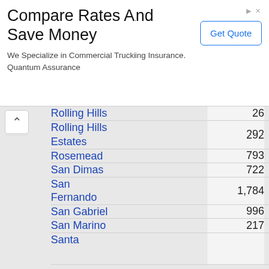[Figure (other): Advertisement banner: 'Compare Rates And Save Money - We Specialize in Commercial Trucking Insurance. Quantum Assurance' with a 'Get Quote' button]
| City | Count | Value | Other |
| --- | --- | --- | --- |
| Rolling Hills | 26 | $859,720 | 41 |
| Rolling Hills Estates | 292 | $96,047,489 | 443 |
| Rosemead | 793 | $368,346,393 | 1,207 |
| San Dimas | 722 | $376,171,074 | 1,222 |
| San Fernando | 1,784 | $328,450,156 | 2,227 |
| San Gabriel | 996 | $281,725,987 | 1,511 |
| San Marino | 217 | $32,209,274 | 369 |
| Santa |  |  |  |